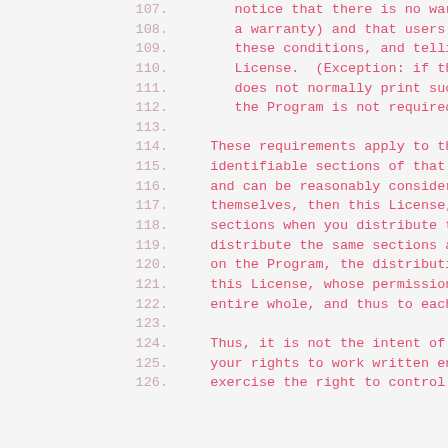107.      notice that there is no warranty
108.      a warranty) and that users may re
109.      these conditions, and telling the
110.      License.  (Exception: if the Pro
111.      does not normally print such an a
112.      the Program is not required to p
113.
114.   These requirements apply to the modi
115.   identifiable sections of that work a
116.   and can be reasonably considered ind
117.   themselves, then this License, and i
118.   sections when you distribute them as
119.   distribute the same sections as part
120.   on the Program, the distribution of
121.   this License, whose permissions for
122.   entire whole, and thus to each and e
123.
124.   Thus, it is not the intent of this s
125.   your rights to work written entirely
126.   exercise the right to control the di